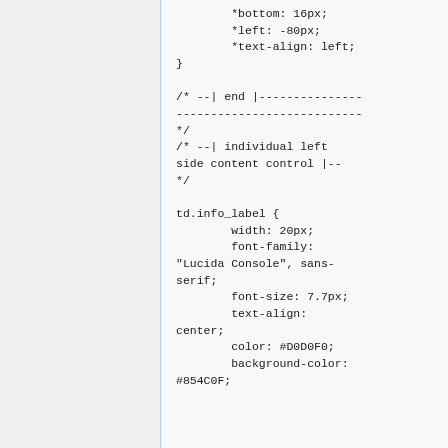*bottom: 16px;
        *left: -80px;
        *text-align: left;
}

/* --| end |---------------
---------------------------
*/
/* --| individual left side content control |--
*/

td.info_label {
        width: 20px;
        font-family:
"Lucida Console", sans-serif;
        font-size: 7.7px;
        text-align:
center;
        color: #D0D0F0;
        background-color:
#854C0F;